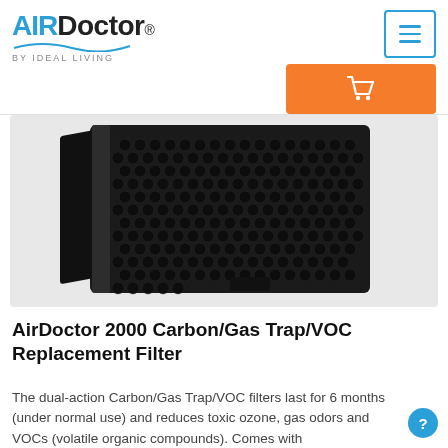AirDoctor by IDEAL LIVING
[Figure (photo): Black carbon/gas trap honeycomb filter panel shown at an angle against a light gray background]
AirDoctor 2000 Carbon/Gas Trap/VOC Replacement Filter
The dual-action Carbon/Gas Trap/VOC filters last for 6 months (under normal use) and reduces toxic ozone, gas odors and VOCs (volatile organic compounds). Comes with